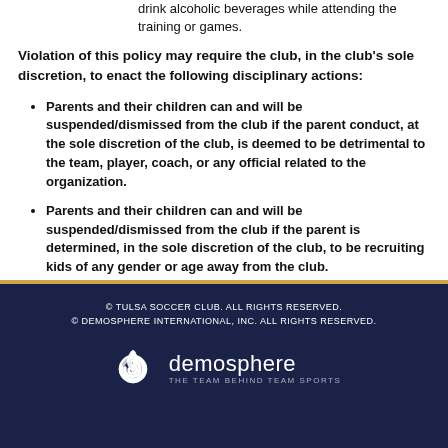drink alcoholic beverages while attending the training or games.
Violation of this policy may require the club, in the club's sole discretion, to enact the following disciplinary actions:
Parents and their children can and will be suspended/dismissed from the club if the parent conduct, at the sole discretion of the club, is deemed to be detrimental to the team, player, coach, or any official related to the organization.
Parents and their children can and will be suspended/dismissed from the club if the parent is determined, in the sole discretion of the club, to be recruiting kids of any gender or age away from the club.
© TULSA SOCCER CLUB. ALL RIGHTS RESERVED. © DEMOSPHERE INTERNATIONAL, INC. ALL RIGHTS RESERVED. demosphere THE TEAM BEHIND TEAM SPORTS